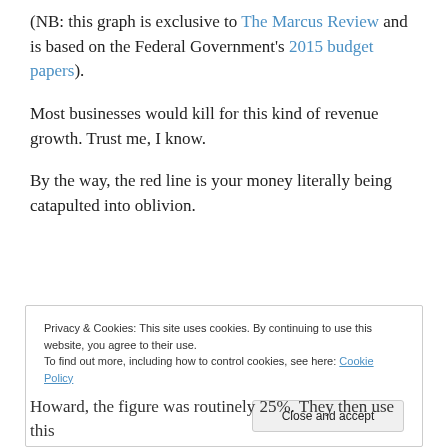(NB: this graph is exclusive to The Marcus Review and is based on the Federal Government's 2015 budget papers).
Most businesses would kill for this kind of revenue growth. Trust me, I know.
By the way, the red line is your money literally being catapulted into oblivion.
[Figure (other): Advertisement banner with blue background showing icons and text 'app you'll ever need.']
REPORT THIS AD
Privacy & Cookies: This site uses cookies. By continuing to use this website, you agree to their use.
To find out more, including how to control cookies, see here: Cookie Policy
Close and accept
Howard, the figure was routinely 25%. They then use this